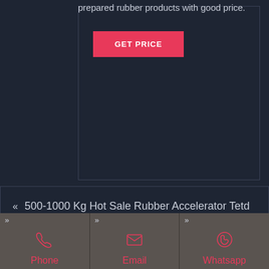prepared rubber products with good price.
[Figure (other): GET PRICE button - pink/red rectangular button with white bold text]
« 500-1000 Kg Hot Sale Rubber Accelerator Tetd For Tire Making
[Figure (other): Footer with three columns: Phone (phone icon), Email (envelope icon), Whatsapp (whatsapp icon), each with chevron decoration and pink labels on dark brown background]